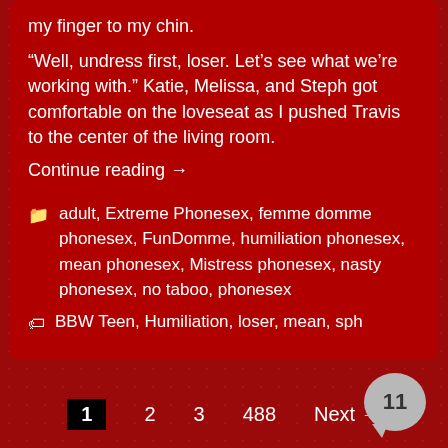my finger to my chin.
“Well, undress first, loser. Let’s see what we’re working with.” Katie, Melissa, and Steph got comfortable on the loveseat as I pushed Travis to the center of the living room.
Continue reading →
adult, Extreme Phonesex, femme domme phonesex, FunDomme, humiliation phonesex, mean phonesex, Mistress phonesex, nasty phonesex, no taboo, phonesex
BBW Teen, Humiliation, loser, mean, sph
1  2  3  ...  488  Next →